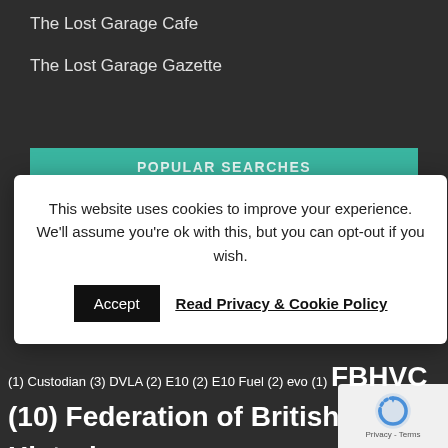The Lost Garage Cafe
The Lost Garage Gazette
POPULAR SEARCHES
This website uses cookies to improve your experience. We'll assume you're ok with this, but you can opt-out if you wish.
Accept   Read Privacy & Cookie Policy
(1) Custodian (3) DVLA (2) E10 (2) E10 Fuel (2) evo (1) FBHVC (10) Federation of British Historic Vehicle Clubs (11) Ferrari (2) Festival of the Unexceptional (3) FIVA (17) Flivver Online (11) Footman James (6) free club web (11) Fédération Internationale des